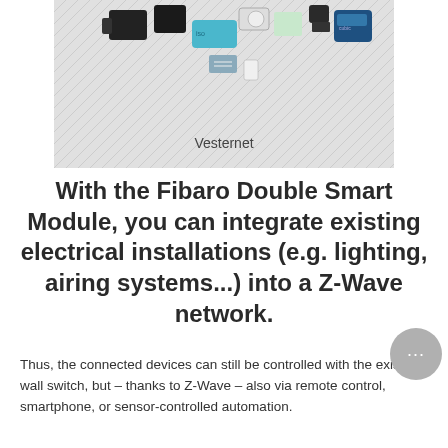[Figure (photo): Product image showing various smart home devices (Fibaro modules, sensors) on a light diagonal-striped background with the brand label 'Vesternet' centered at the bottom]
With the Fibaro Double Smart Module, you can integrate existing electrical installations (e.g. lighting, airing systems...) into a Z-Wave network.
Thus, the connected devices can still be controlled with the existing wall switch, but – thanks to Z-Wave – also via remote control, smartphone, or sensor-controlled automation.